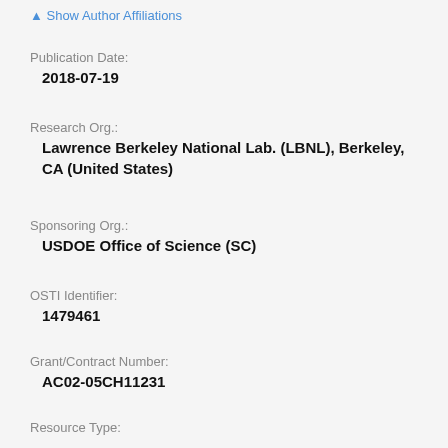▲ Show Author Affiliations
Publication Date:
2018-07-19
Research Org.:
Lawrence Berkeley National Lab. (LBNL), Berkeley, CA (United States)
Sponsoring Org.:
USDOE Office of Science (SC)
OSTI Identifier:
1479461
Grant/Contract Number:
AC02-05CH11231
Resource Type:
Accepted Manuscript
Journal Name: